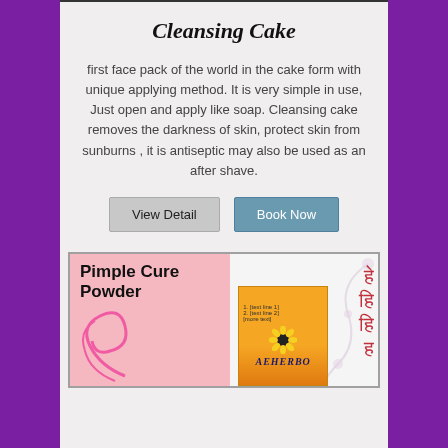Cleansing Cake
first face pack of the world in the cake form with unique applying method. It is very simple in use, Just open and apply like soap. Cleansing cake removes the darkness of skin, protect skin from sunburns , it is antiseptic may also be used as an after shave.
View Detail | Book Now
[Figure (photo): Product card for Pimple Cure Powder showing a pink background on the left with the product title in bold, decorative swirl, and on the right a product box labeled AEHERBO with a sunflower graphic, and Hindi/Urdu text on the far right.]